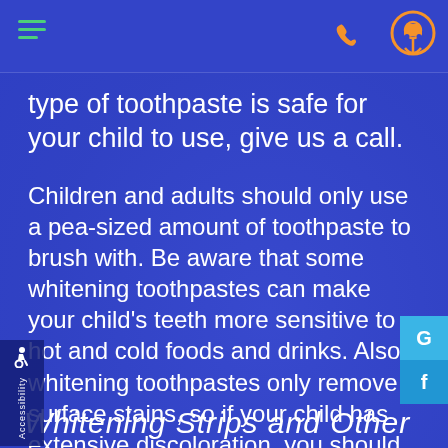Navigation bar with hamburger menu, phone icon, and location icon
type of toothpaste is safe for your child to use, give us a call.
Children and adults should only use a pea-sized amount of toothpaste to brush with. Be aware that some whitening toothpastes can make your child's teeth more sensitive to hot and cold foods and drinks. Also, whitening toothpastes only remove surface stains, so if your child has extensive discoloration, you should talk to us about alternative whitening options.
Whitening Strips and Other